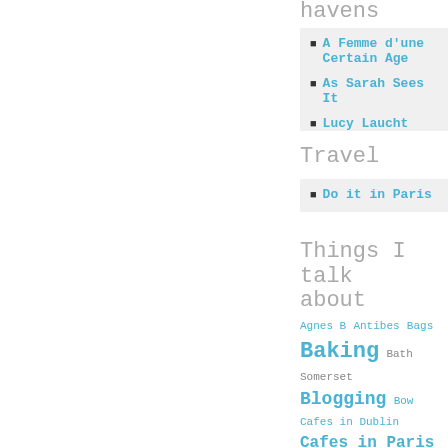havens
A Femme d'une Certain Age
As Sarah Sees It
Lucy Laucht
Travel
Do it in Paris
Things I talk about
Agnes B Antibes Bags Baking Bath Somerset Blogging Bow Cafes in Dublin Cafes in Paris